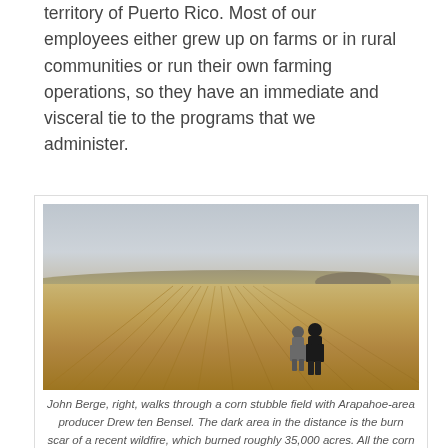territory of Puerto Rico. Most of our employees either grew up on farms or in rural communities or run their own farming operations, so they have an immediate and visceral tie to the programs that we administer.
[Figure (photo): Two people walking through a harvested corn stubble field. The field is golden-brown with crop rows visible. In the distance is a dark area on rolling hills that is the burn scar from a recent wildfire. The sky is hazy/overcast.]
John Berge, right, walks through a corn stubble field with Arapahoe-area producer Drew ten Bensel. The dark area in the distance is the burn scar of a recent wildfire, which burned roughly 35,000 acres. All the corn stubble that was in that area was burned off in the wildfire, exposing bare